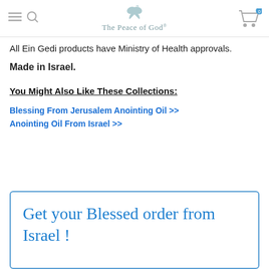The Peace of God®
All Ein Gedi products have Ministry of Health approvals.
Made in Israel.
You Might Also Like These Collections:
Blessing From Jerusalem Anointing Oil >>
Anointing Oil From Israel >>
Get your Blessed order from Israel !